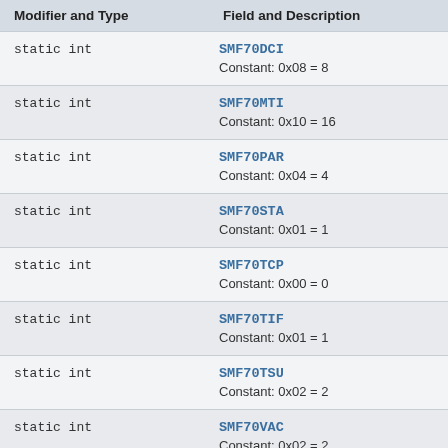| Modifier and Type | Field and Description |
| --- | --- |
| static int | SMF70DCI
Constant: 0x08 = 8 |
| static int | SMF70MTI
Constant: 0x10 = 16 |
| static int | SMF70PAR
Constant: 0x04 = 4 |
| static int | SMF70STA
Constant: 0x01 = 1 |
| static int | SMF70TCP
Constant: 0x00 = 0 |
| static int | SMF70TIF
Constant: 0x01 = 1 |
| static int | SMF70TSU
Constant: 0x02 = 2 |
| static int | SMF70VAC
Constant: 0x02 = 2 |